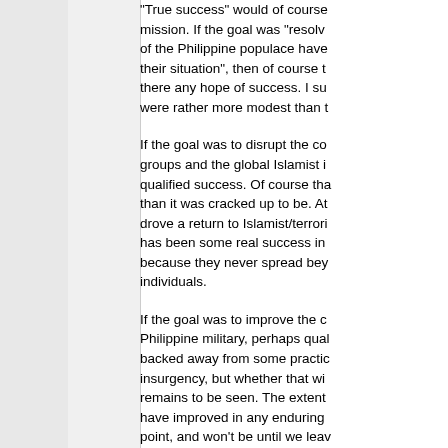"True success" would of course mission. If the goal was "resolv of the Philippine populace have their situation", then of course t there any hope of success. I su were rather more modest than t
If the goal was to disrupt the co groups and the global Islamist i qualified success. Of course tha than it was cracked up to be. At drove a return to Islamist/terrori has been some real success in because they never spread bey individuals.
If the goal was to improve the c Philippine military, perhaps qual backed away from some practic insurgency, but whether that wi remains to be seen. The extent have improved in any enduring point, and won't be until we leav
If the goal was to improve gove or nothing. The governing elite b available to those who say the v but I don't see any reason to thi picture.